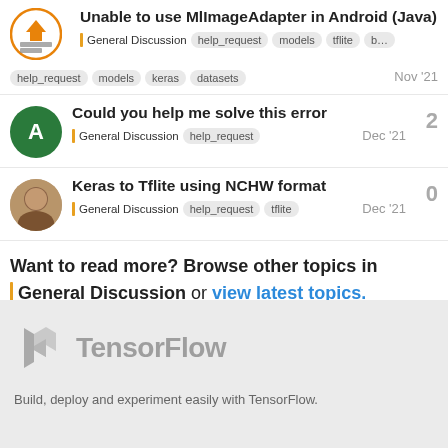Unable to use MlImageAdapter in Android (Java)
General Discussion | help_request | models | tflite | b...
help_request | models | keras | datasets — Nov '21
Could you help me solve this error — 2 — General Discussion | help_request — Dec '21
Keras to Tflite using NCHW format — 0 — General Discussion | help_request | tflite — Dec '21
Want to read more? Browse other topics in General Discussion or view latest topics.
[Figure (logo): TensorFlow logo with text 'TensorFlow' in grey]
Build, deploy and experiment easily with TensorFlow.